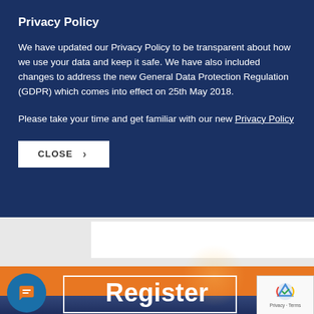Privacy Policy
We have updated our Privacy Policy to be transparent about how we use your data and keep it safe. We have also included changes to address the new General Data Protection Regulation (GDPR) which comes into effect on 25th May 2018.
Please take your time and get familiar with our new Privacy Policy
CLOSE
Register